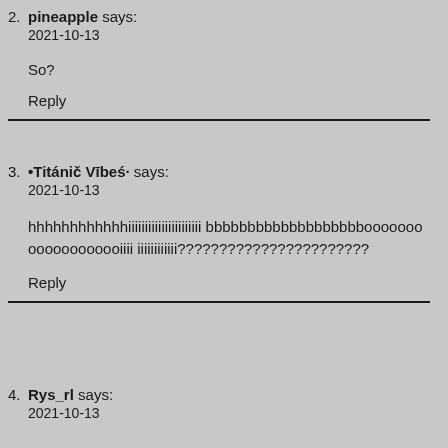2. pineapple says:
2021-10-13

So?

Reply
3. •Titánič Vībeś· says:
2021-10-13

hhhhhhhhhhhhiiiiiiiiiiiiiiiiiiiiii bbbbbbbbbbbbbbbbbbbooooooooooooooooooiiii iiiiiiiiiiii???????????????????????

Reply
4. Rys_rl says:
2021-10-13